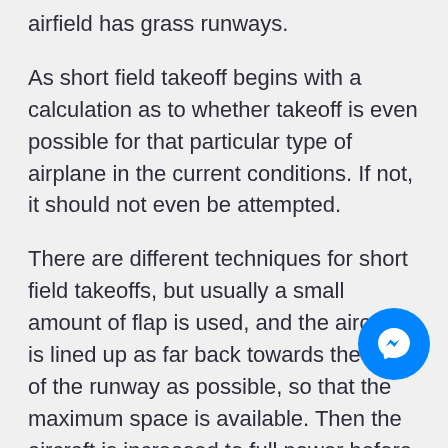airfield has grass runways.
As short field takeoff begins with a calculation as to whether takeoff is even possible for that particular type of airplane in the current conditions. If not, it should not even be attempted.
There are different techniques for short field takeoffs, but usually a small amount of flap is used, and the aircraft is lined up as far back towards the end of the runway as possible, so that the maximum space is available. Then the aircraft is increased to full power before the takeoff roll is commenced, by the pilot holding it on the brakes. This means it can accelerate to the disclaimer in a short...